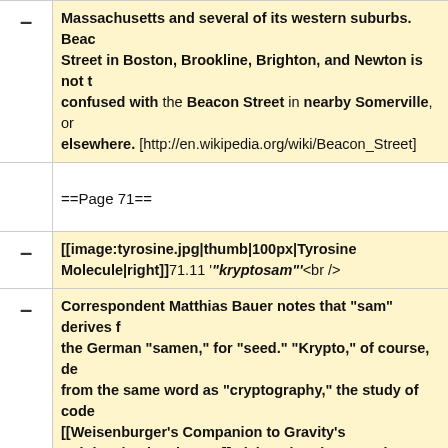Massachusetts and several of its western suburbs.  Beacon Street in Boston, Brookline, Brighton, and Newton is not to be confused with the Beacon Street in nearby Somerville, or elsewhere.  [http://en.wikipedia.org/wiki/Beacon_Street]
==Page 71==
[[image:tyrosine.jpg|thumb|100px|Tyrosine Molecule|right]]71.11 '"kryptosam"'<br />
Correspondent Matthias Bauer notes that "sam" derives from the German "samen," for "seed."  "Krypto," of course, derives from the same word as "cryptography," the study of codes. [[Weisenburger's Companion to Gravity's Rainbow|Weisenburger]] claims that the "tyrosine" from which kryptosam is supposed to derive is "undoubtedly fictional" – it is in fact an amino acid, which can convert to melanin, just as Jamf's note indicates (although it is unclear whether semen would in fact act as the catalytic agent).<br>